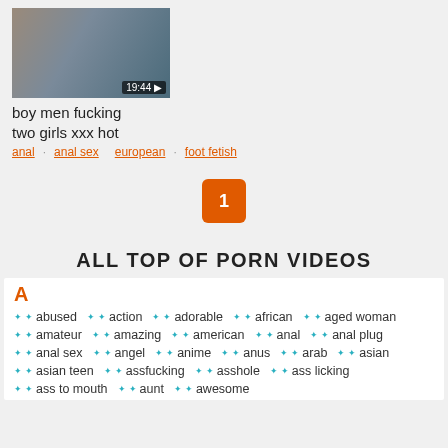[Figure (photo): Thumbnail image of video with duration overlay showing 19:44]
boy men fucking two girls xxx hot
anal · anal sex · european · foot fetish
1
ALL TOP OF PORN VIDEOS
A
abused · action · adorable · african · aged woman
amateur · amazing · american · anal · anal plug
anal sex · angel · anime · anus · arab · asian
asian teen · assfucking · asshole · ass licking
ass to mouth · aunt · awesome